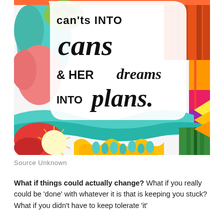[Figure (illustration): Colorful doodle-art background with swirling patterns, florals, waves, and geometric shapes in teal, red, orange, green, pink, yellow colors. Overlaid with handwritten-style black text on white speech-bubble area reading: 'can'ts INTO cans & HER dreams INTO plans.']
Source Unknown
What if things could actually change? What if you really could be 'done' with whatever it is that is keeping you stuck? What if you didn't have to keep tolerate 'it'